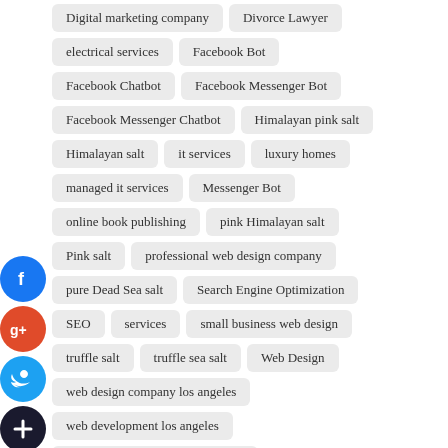Digital marketing company
Divorce Lawyer
electrical services
Facebook Bot
Facebook Chatbot
Facebook Messenger Bot
Facebook Messenger Chatbot
Himalayan pink salt
Himalayan salt
it services
luxury homes
managed it services
Messenger Bot
online book publishing
pink Himalayan salt
Pink salt
professional web design company
pure Dead Sea salt
Search Engine Optimization
SEO
services
small business web design
truffle salt
truffle sea salt
Web Design
web design company los angeles
web development los angeles
website design agency los angeles